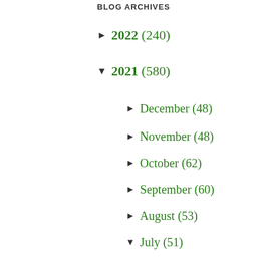BLOG ARCHIVES
► 2022 (240)
▼ 2021 (580)
► December (48)
► November (48)
► October (62)
► September (60)
► August (53)
▼ July (51)
GoShopping Philippines Officially Launched in the ...
SARAH GERONIMO Sparks ACER Day Celebrations!
The BISTRO GROUP Got Fully Vaccinated